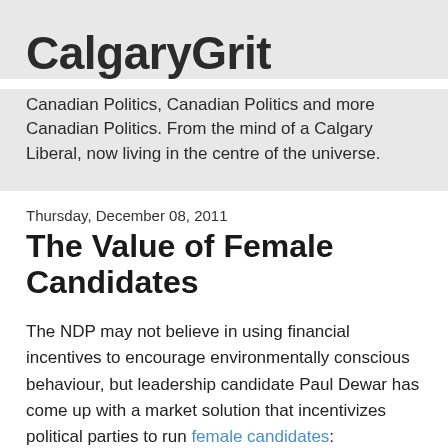CalgaryGrit
Canadian Politics, Canadian Politics and more Canadian Politics. From the mind of a Calgary Liberal, now living in the centre of the universe.
Thursday, December 08, 2011
The Value of Female Candidates
The NDP may not believe in using financial incentives to encourage environmentally conscious behaviour, but leadership candidate Paul Dewar has come up with a market solution that incentivizes political parties to run female candidates:
OTTAWA—New Democratic leadership candidate Paul Dewar wants to bring back the political subsidy the Conservative government